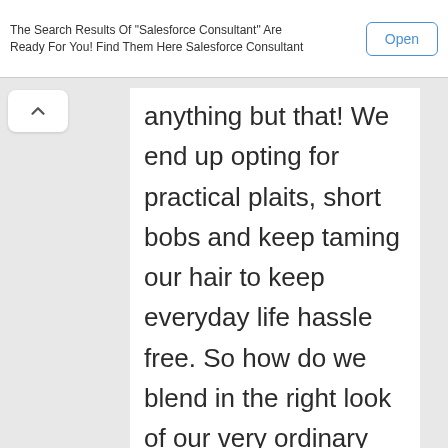The Search Results Of "Salesforce Consultant" Are Ready For You! Find Them Here Salesforce Consultant
Open
anything but that! We end up opting for practical plaits, short bobs and keep taming our hair to keep everyday life hassle free. So how do we blend in the right look of our very ordinary hair to make the beauty of the saree come alive? Here are some of the most simple and nifty styles that can be easily tried out